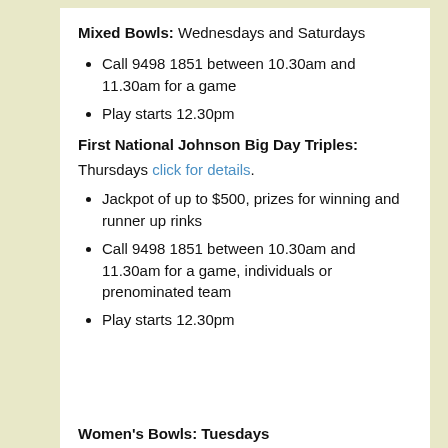Mixed Bowls: Wednesdays and Saturdays
Call 9498 1851 between 10.30am and 11.30am for a game
Play starts 12.30pm
First National Johnson Big Day Triples:
Thursdays click for details.
Jackpot of up to $500, prizes for winning and runner up rinks
Call 9498 1851 between 10.30am and 11.30am for a game, individuals or prenominated team
Play starts 12.30pm
Women's Bowls: Tuesdays